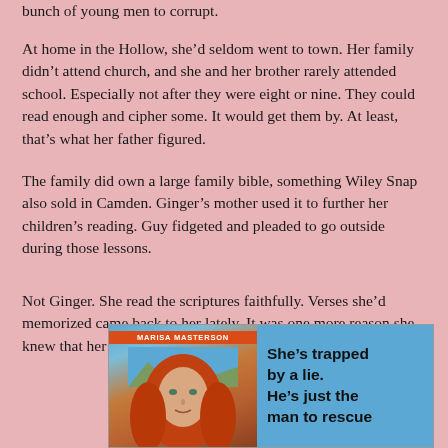bunch of young men to corrupt.
At home in the Hollow, she’d seldom went to town. Her family didn’t attend church, and she and her brother rarely attended school. Especially not after they were eight or nine. They could read enough and cipher some. It would get them by. At least, that’s what her father figured.
The family did own a large family bible, something Wiley Snap also sold in Camden. Ginger’s mother used it to further her children’s reading. Guy fidgeted and pleaded to go outside during those lessons.
Not Ginger. She read the scriptures faithfully. Verses she’d memorized came back to her lately. It was one more reason she knew that her deception was wrong.
[Figure (illustration): Book cover advertisement for a romance novel by Marisa Masterson. Shows a woman with long red hair against a blue sky background with mountains. Text reads: 'She’s trapped by a lie. He’s just the man to rescue...' Author name on an orange banner at top.]